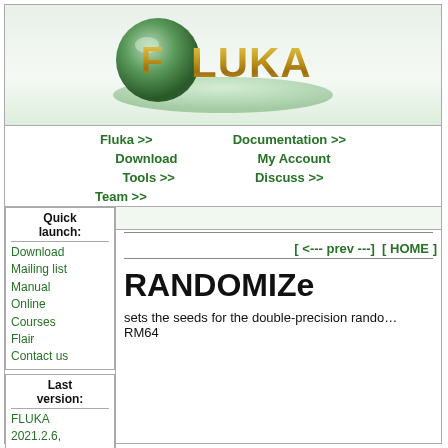[Figure (logo): FLUKA logo: 3D green sphere with golden FLUKA text on a light green gradient background]
Fluka >>    Documentation >>    Download    My Account    Tools >>    Discuss >>    Team >>
Quick launch:
Download
Mailing list
Manual
Online Courses
Flair
Contact us
Last version:
FLUKA 2021.2.6, March 27th
[ <--- prev ---]  [ HOME ]
RANDOMIZe
sets the seeds for the double-precision random number generator RM64